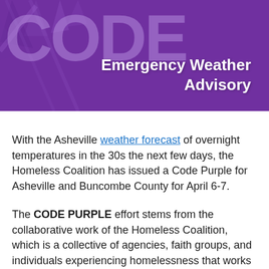[Figure (illustration): Purple banner with large stylized 'CODE' text and 'Emergency Weather Advisory' subtitle in white on purple background]
With the Asheville weather forecast of overnight temperatures in the 30s the next few days, the Homeless Coalition has issued a Code Purple for Asheville and Buncombe County for April 6-7.
The CODE PURPLE effort stems from the collaborative work of the Homeless Coalition, which is a collective of agencies, faith groups, and individuals experiencing homelessness that works on an ongoing basis to address the needs of people who are homeless outside of houses.